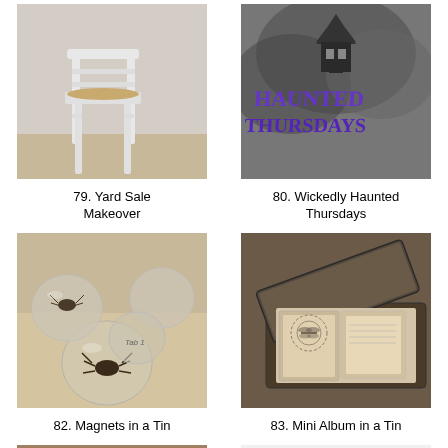[Figure (photo): White painted ladder-back bar stool with rush seat against white background]
79. Yard Sale Makeover
[Figure (photo): Dark haunted house graphic with purple text reading 'Haunted Thursdays']
80. Wickedly Haunted Thursdays
[Figure (photo): Glass dome magnets with insect/bug images inside them arranged on a surface]
82. Magnets in a Tin
[Figure (photo): Vintage tin box open containing a small mini album with decorative papers]
83. Mini Album in a Tin
[Figure (photo): Red stool with cushioned top upholstered in yellow fabric with bird print]
[Figure (photo): Great hair tutorial text with YouTube logo style graphic]